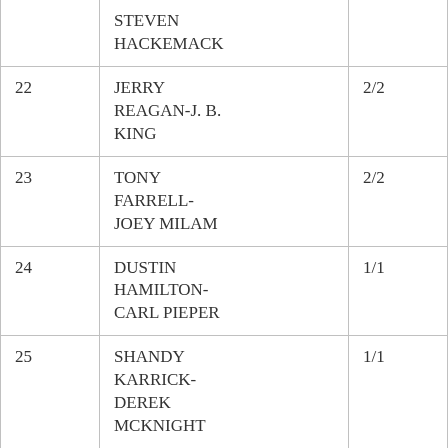| # | Name | Ratio | Score |
| --- | --- | --- | --- |
|  | STEVEN HACKEMACK |  |  |
| 22 | JERRY REAGAN-J. B. KING | 2/2 | 4.06 |
| 23 | TONY FARRELL-JOEY MILAM | 2/2 | 3.75 |
| 24 | DUSTIN HAMILTON-CARL PIEPER | 1/1 | 3.67 |
| 25 | SHANDY KARRICK-DEREK MCKNIGHT | 1/1 | 3.33 |
| 26 | DOUG | 2/2 | 3.31 |